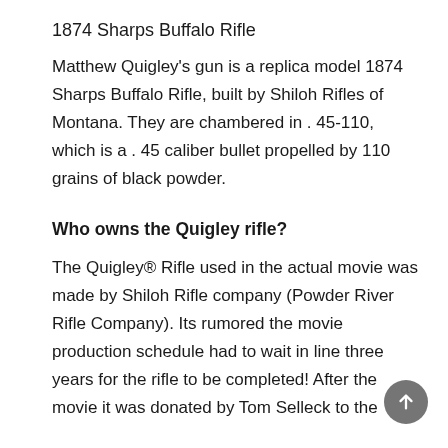1874 Sharps Buffalo Rifle
Matthew Quigley’s gun is a replica model 1874 Sharps Buffalo Rifle, built by Shiloh Rifles of Montana. They are chambered in . 45-110, which is a . 45 caliber bullet propelled by 110 grains of black powder.
Who owns the Quigley rifle?
The Quigley® Rifle used in the actual movie was made by Shiloh Rifle company (Powder River Rifle Company). Its rumored the movie production schedule had to wait in line three years for the rifle to be completed! After the movie it was donated by Tom Selleck to the